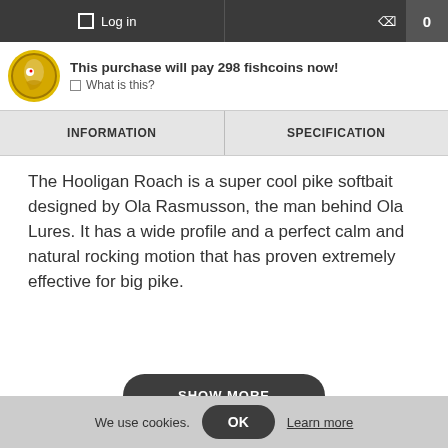Log in   0
This purchase will pay 298 fishcoins now!
◻ What is this?
| INFORMATION | SPECIFICATION |
| --- | --- |
The Hooligan Roach is a super cool pike softbait designed by Ola Rasmusson, the man behind Ola Lures. It has a wide profile and a perfect calm and natural rocking motion that has proven extremely effective for big pike.
SHOW MORE
RECOMMENDED PRODUCTS
We use cookies.   OK   Learn more